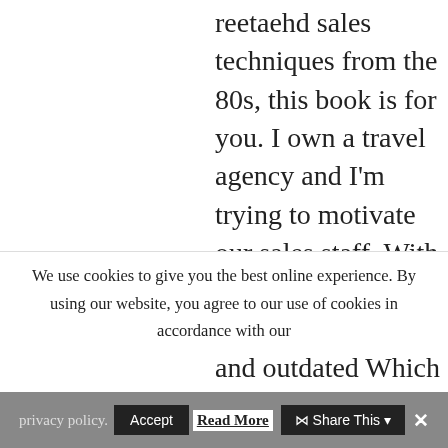reetaehd sales techniques from the 80s, this book is for you. I own a travel agency and I'm trying to motivate our sales staff. With a luxury product, we can't use cheesy and outdated Which day is better, Tuesday or Thursday? sales techniques. Bill Brooks infuses integrity and honor back into the Sales Professional and describes a way of doing business that sales people can both be proud of and create a good
We use cookies to give you the best online experience. By using our website, you agree to our use of cookies in accordance with our
privacy policy.  Accept  Read More  Share This  ×